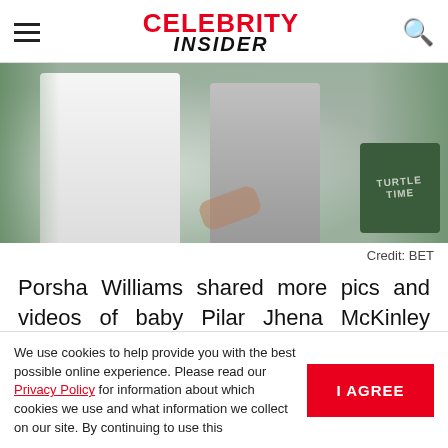CELEBRITY INSIDER
[Figure (photo): Two people standing together, one in white outfit and one in gray, with tropical leaf decorations and a green pillow visible on the right side.]
Credit: BET
Porsha Williams shared more pics and videos of baby Pilar Jhena McKinley these days, and one particular video got fans' attention. In the clip, Dennis McKinley's daughter is making a
We use cookies to help provide you with the best possible online experience. Please read our Privacy Policy for information about which cookies we use and what information we collect on our site. By continuing to use this